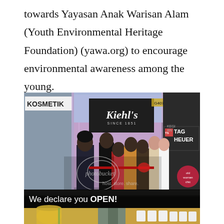towards Yayasan Anak Warisan Alam (Youth Environmental Heritage Foundation) (yawa.org) to encourage environmental awareness among the young.
[Figure (photo): Photo of the Kiehl's store opening in a mall. People are gathered at the storefront doing a ribbon-cutting ceremony. The Kiehl's sign reads 'Kiehl's Since 1851'. A TAG Heuer store is visible to the right. A 'KOSMETIK' sign is on the left. Text overlay at the bottom reads 'We declare you OPEN!' with a Photobucket watermark. Below is a partial strip of smaller photos showing drinks and products.]